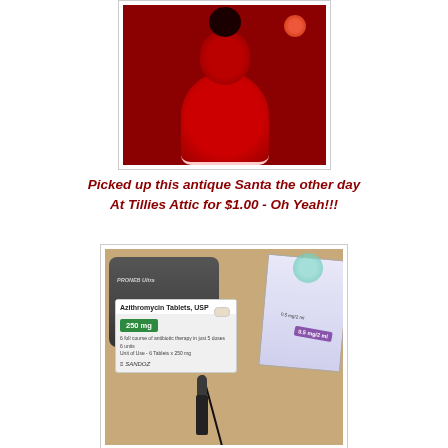[Figure (photo): Photo of an antique Santa Claus figurine dressed in red with black accents, displayed against a red background]
Picked up this antique Santa the other day At Tillies Attic for $1.00  - Oh Yeah!!!
[Figure (photo): Photo of medical items including a PRONEB Ultra nebulizer, Azithromycin Tablets USP 250mg by Sandoz, and other medical supplies on a wooden surface]